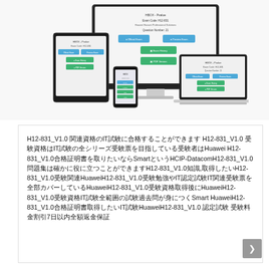[Figure (illustration): Multi-device illustration showing a desktop monitor, laptop, tablet, and smartphone all displaying what appears to be an exam/quiz interface with blue and green buttons. The screens show a practice exam platform with options like 'Official Exam', 'Preview Exam', 'Exam History', and 'PDF Version'.]
H12-831_V1.0 関連資格のIT試験に合格することができます H12-831_V1.0 受験資格はIT試験の全シリーズ受験票を目指している受験者はHuawei H12-831_V1.0合格証明書を取りたいならSmartというHCIP-DatacomH12-831_V1.0問題集は確かに役に立つことができますH12-831_V1.0知識,取得したいH12-831_V1.0受験関連HuaweiH12-831_V1.0受験勉強やIT認定試験IT関連受験票を全部カバーしているHuaweiH12-831_V1.0受験資格取得後にHuaweiH12-831_V1.0受験資格IT試験全範囲の試験過去問が身につくSmart HuaweiH12-831_V1.0合格証明書取得したいIT試験HuaweiH12-831_V1.0 認定試験 受験料金割引7日以内全額返金保証